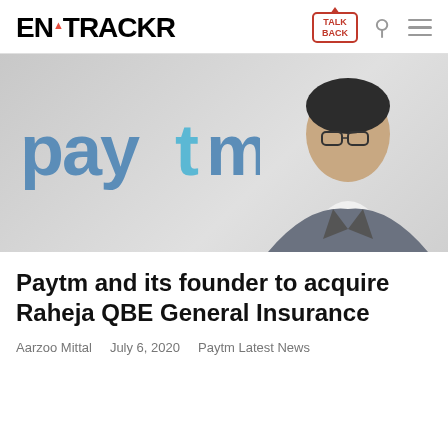ENTRACKR | TALK BACK
[Figure (photo): Hero image showing Paytm logo on the left and a professional man in a grey suit on the right, against a light grey background]
Paytm and its founder to acquire Raheja QBE General Insurance
Aarzoo Mittal   July 6, 2020   Paytm Latest News